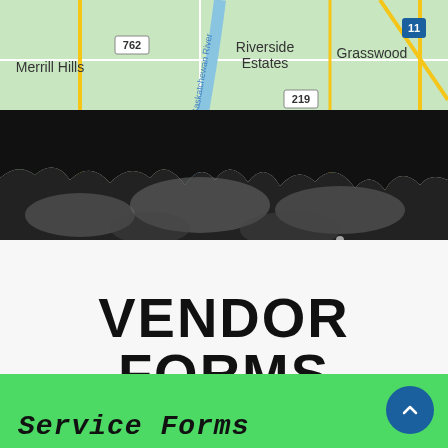[Figure (map): Street map showing neighborhoods: Merrill Hills, Riverside Estates, Grasswood, Casa Rio. Road number markers: 762, 219, 11. The Saskatchewan River runs through the middle. Grid roads with yellow highway lines.]
[Figure (photo): Torn black paper edge / dramatic torn border effect over a dark aerial or landscape scene, creating a torn paper silhouette dividing the map from the white section below.]
VENDOR FORMS
[Figure (infographic): Green bar at the bottom of the page with 'SERVICE FORMS' text in stylized handwriting/italic font, and a dark blue circular scroll-up arrow button on the right side.]
SERVICE FORMS